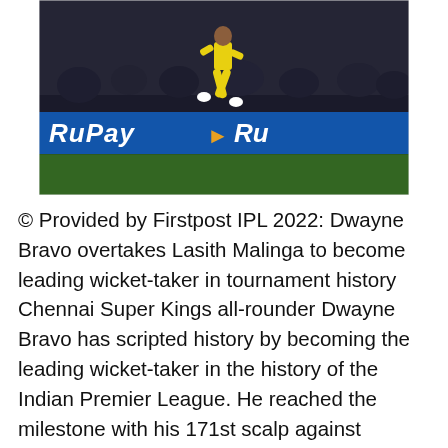[Figure (photo): A cricket player in yellow CSK uniform jumping/leaping mid-air during an IPL match at night. RuPay sponsor banner visible in the background along the boundary. Dark background with crowd.]
© Provided by Firstpost IPL 2022: Dwayne Bravo overtakes Lasith Malinga to become leading wicket-taker in tournament history Chennai Super Kings all-rounder Dwayne Bravo has scripted history by becoming the leading wicket-taker in the history of the Indian Premier League. He reached the milestone with his 171st scalp against Lucknow Super Giants at the Brabourne Stadium in Mumbai on Thursday.